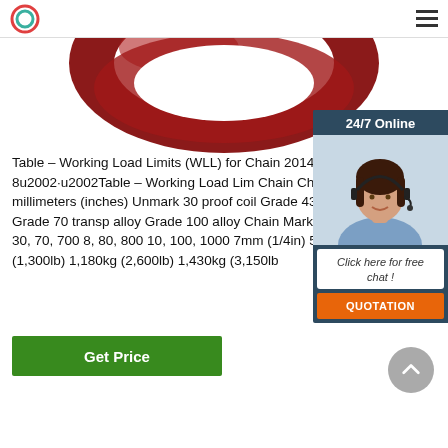[Figure (photo): Red O-ring or toroidal rubber seal, partially visible from below, showing the curved dark red surface.]
Table – Working Load Limits (WLL) for Chain 2014-10-8u2002·u2002Table – Working Load Lim Chain Chain Size in millimeters (inches) Unmark 30 proof coil Grade 43 high test Grade 70 transp alloy Grade 100 alloy Chain Marking None 3, 30, 70, 700 8, 80, 800 10, 100, 1000 7mm (1/4in) 580k 580kg (1,300lb) 1,180kg (2,600lb) 1,430kg (3,150lb
[Figure (other): 24/7 Online chat widget with a female customer support agent wearing a headset, and a QUOTATION button.]
Get Price